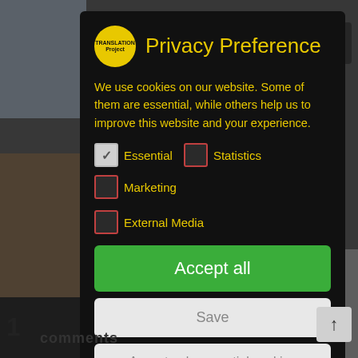[Figure (screenshot): Website background visible behind privacy preference modal, with partial images and navigation elements]
Privacy Preference
We use cookies on our website. Some of them are essential, while others help us to improve this website and your experience.
Essential (checked)
Statistics (unchecked)
Marketing (unchecked)
External Media (unchecked)
Accept all
Save
Accept only essential cookies
Individual Privacy Preferences
Cookie Details | Privacy Policy | Imprint